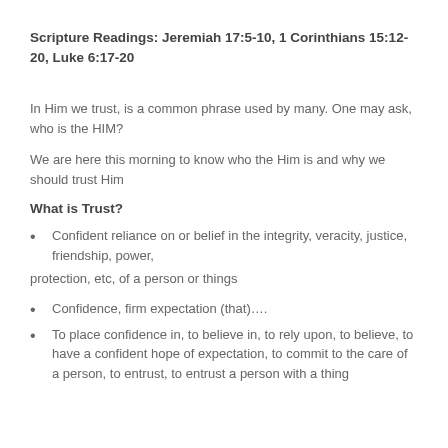Scripture Readings: Jeremiah 17:5-10, 1 Corinthians 15:12-20, Luke 6:17-20
In Him we trust, is a common phrase used by many. One may ask, who is the HIM?
We are here this morning to know who the Him is and why we should trust Him
What is Trust?
Confident reliance on or belief in the integrity, veracity, justice, friendship, power,
protection, etc, of a person or things
Confidence, firm expectation (that)….
To place confidence in, to believe in, to rely upon, to believe, to have a confident hope of expectation, to commit to the care of a person, to entrust, to entrust a person with a thing